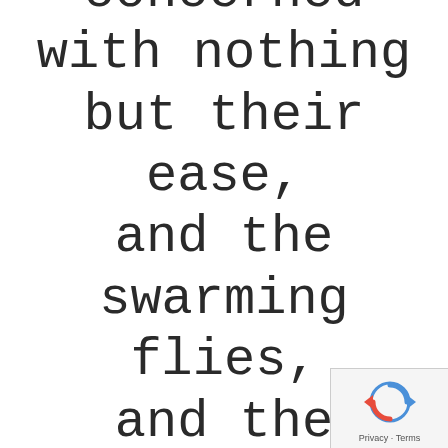concerned with nothing but their ease, and the swarming flies, and the
[Figure (other): reCAPTCHA badge with spinning arrows icon and Privacy - Terms label]